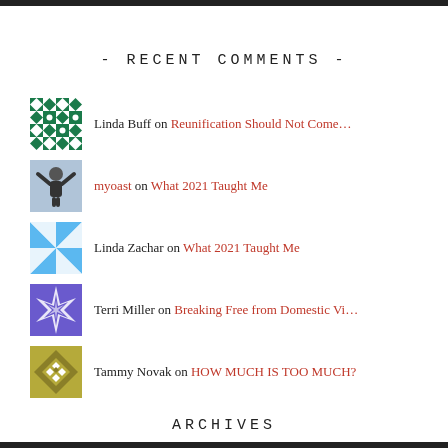- RECENT COMMENTS -
Linda Buff on Reunification Should Not Come…
myoast on What 2021 Taught Me
Linda Zachar on What 2021 Taught Me
Terri Miller on Breaking Free from Domestic Vi…
Tammy Novak on HOW MUCH IS TOO MUCH?
ARCHIVES